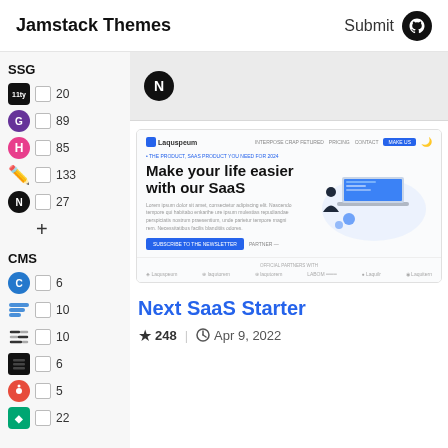Jamstack Themes   Submit
SSG
11ty  20
Gatsby  89
Hugo  85
Jekyll  133
Next  27
CMS
Contentful  6
Forestry  10
NetlifyCMS  10
Sanity  6
DatoCMS  5
Gridsome  22
[Figure (screenshot): Preview screenshot of a SaaS website theme with headline 'Make your life easier with our SaaS', navigation bar, CTA buttons, and partner logos strip]
Next SaaS Starter
★ 248   Apr 9, 2022